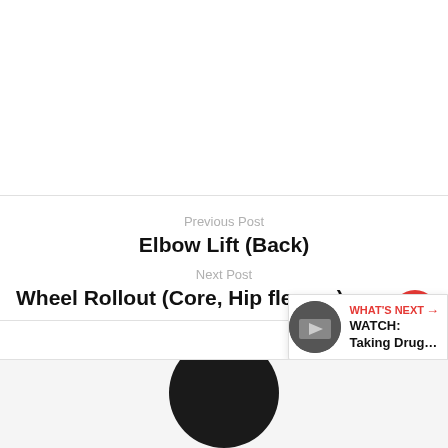Previous Post
Elbow Lift (Back)
Next Post
Wheel Rollout (Core, Hip flexors)
[Figure (illustration): Red circular heart favorite button and grey circular share button (FABs on right side)]
[Figure (infographic): What's next bar showing: WHAT'S NEXT arrow label, WATCH: Taking Drug... title, with a circular thumbnail image]
[Figure (photo): Bottom partial image showing dark circular shape (person head/silhouette) on white/grey background]